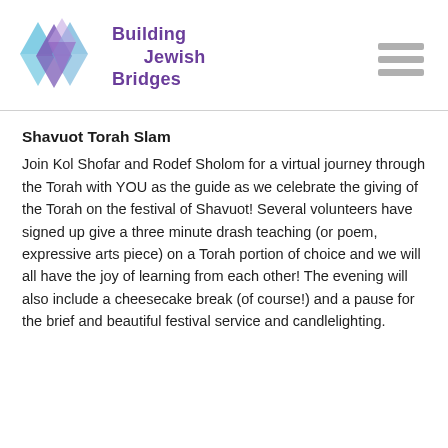[Figure (logo): Building Jewish Bridges logo — Star of David made from overlapping blue and purple triangles, with the text 'Building Jewish Bridges' in purple beside it]
Shavuot Torah Slam
Join Kol Shofar and Rodef Sholom for a virtual journey through the Torah with YOU as the guide as we celebrate the giving of the Torah on the festival of Shavuot! Several volunteers have signed up give a three minute drash teaching (or poem, expressive arts piece) on a Torah portion of choice and we will all have the joy of learning from each other! The evening will also include a cheesecake break (of course!) and a pause for the brief and beautiful festival service and candlelighting.